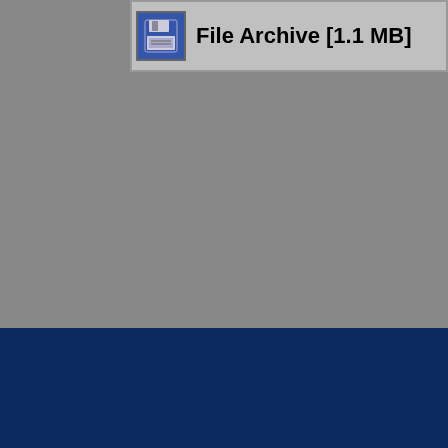[Figure (screenshot): File Archive [1.1 MB] button with floppy disk icon on grey background]
(c)1998-2022 GameC... Privacy Policy |
[Figure (screenshot): iStripper advertisement banner showing a woman and taskbar]